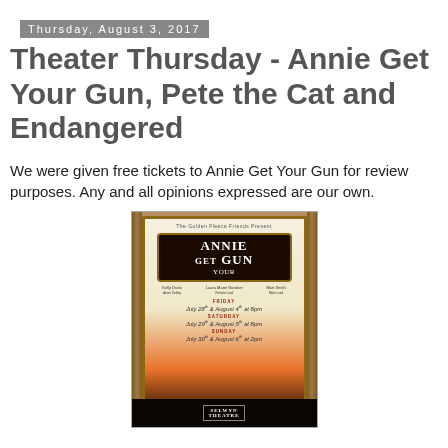Thursday, August 3, 2017
Theater Thursday - Annie Get Your Gun, Pete the Cat and Endangered
We were given free tickets to Annie Get Your Gun for review purposes. Any and all opinions expressed are our own.
[Figure (photo): Photo of an Annie Get Your Gun theater poster mounted in a wooden frame. The poster shows 'ANNIE GET YOUR GUN' in bold letters on a dark sign, with show dates listed: Friday July 28 & August 4th at 8pm, Saturday July 29 & August 5th at 8pm, Sunday July 30 & August 6th at 2pm. The bottom shows a silhouette cityscape with an orange sunset gradient and a theater logo.]